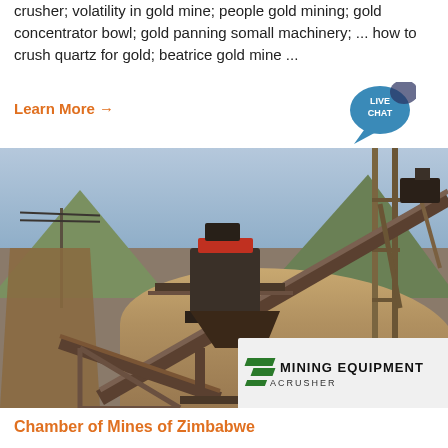crusher; volatility in gold mine; people gold mining; gold concentrator bowl; gold panning somall machinery; ... how to crush quartz for gold; beatrice gold mine ...
Learn More →
[Figure (photo): Industrial mining equipment site showing a large crusher/cone crusher mounted on a steel structure with conveyor belts, scaffolding, and a stockpile of crushed material. Mountains and sky in background. MINING EQUIPMENT ACRUSHER logo overlay in bottom right.]
Chamber of Mines of Zimbabwe